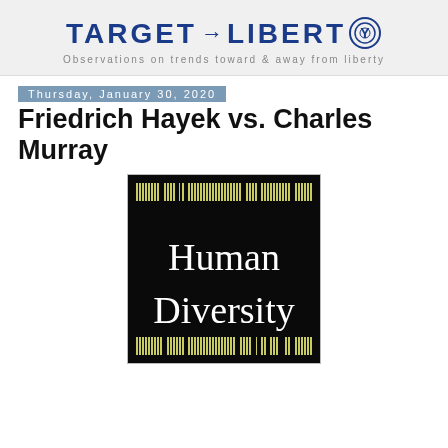[Figure (logo): Target Liberty logo with arrow between words and circular radar icon, tagline: Observations on trends toward & away from liberty]
Thursday, January 30, 2020
Friedrich Hayek vs. Charles Murray
[Figure (photo): Book cover of 'Human Diversity' — black background with yellow/green decorative bar pattern at top and bottom, large white serif text reading 'Human Diversity']